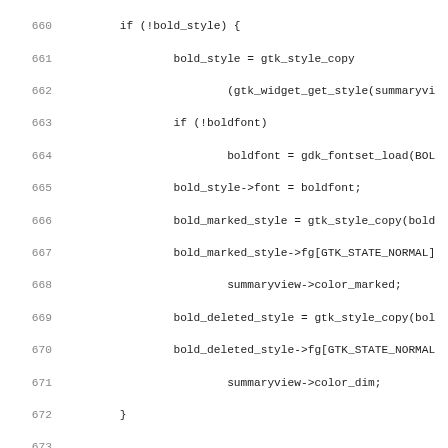[Figure (screenshot): Source code listing showing C code lines 660-691, with line numbers on the left and code using Courier monospace font on white background. The code shows GTK widget style and pixmap operations for a summaryview component.]